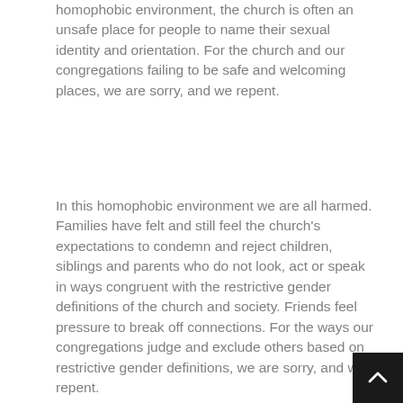homophobic environment, the church is often an unsafe place for people to name their sexual identity and orientation. For the church and our congregations failing to be safe and welcoming places, we are sorry, and we repent.
In this homophobic environment we are all harmed. Families have felt and still feel the church's expectations to condemn and reject children, siblings and parents who do not look, act or speak in ways congruent with the restrictive gender definitions of the church and society. Friends feel pressure to break off connections. For the ways our congregations judge and exclude others based on restrictive gender definitions, we are sorry, and we repent.
No one should ever be harmed for naming their sexual identity. We live in a culture and a world where LGBTQI persons are bullied, brutalized and sometimes killed. Moreover, bullying and violence occurs in congregations or in the community with the support of church members. Presbyteries and sessions fail to hold church members and church leaders accountable for the hateful acts. For our failure to protect those attacked and